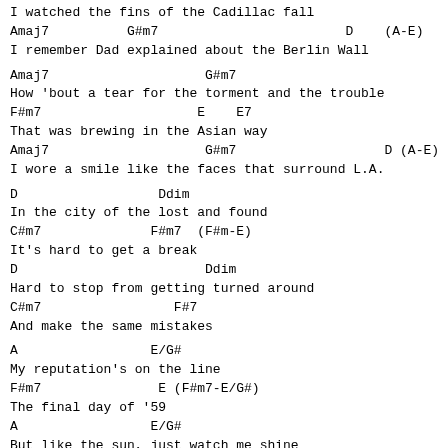I watched the fins of the Cadillac fall
Amaj7          G#m7                        D    (A-E)
I remember Dad explained about the Berlin Wall
Amaj7                    G#m7
How 'bout a tear for the torment and the trouble
F#m7                    E    E7
That was brewing in the Asian way
Amaj7                    G#m7                   D (A-E)
I wore a smile like the faces that surround L.A.
D                  Ddim
In the city of the lost and found
C#m7              F#m7  (F#m-E)
It's hard to get a break
D                        Ddim
Hard to stop from getting turned around
C#m7                 F#7
And make the same mistakes
A                 E/G#
My reputation's on the line
F#m7               E (F#m7-E/G#)
The final day of '59
A                 E/G#
But like the sun, just watch me shine
  D    (A-E)
Today
Amaj7                    G#m7